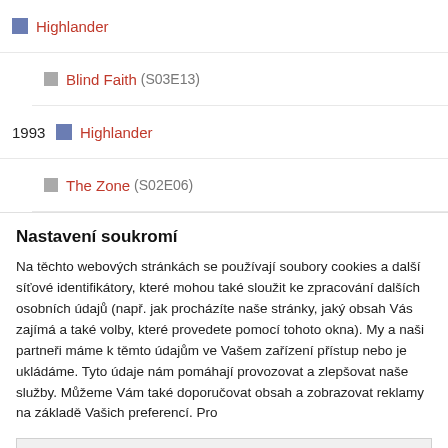Highlander
Blind Faith (S03E13)
1993 Highlander
The Zone (S02E06)
Nastavení soukromí
Na těchto webových stránkách se používají soubory cookies a další síťové identifikátory, které mohou také sloužit ke zpracování dalších osobních údajů (např. jak procházíte naše stránky, jaký obsah Vás zajímá a také volby, které provedete pomocí tohoto okna). My a naši partneři máme k těmto údajům ve Vašem zařízení přístup nebo je ukládáme. Tyto údaje nám pomáhají provozovat a zlepšovat naše služby. Můžeme Vám také doporučovat obsah a zobrazovat reklamy na základě Vašich preferencí. Pro
PODROBNÉ NASTAVENÍ
ROZUMÍM A PŘIJÍMÁM